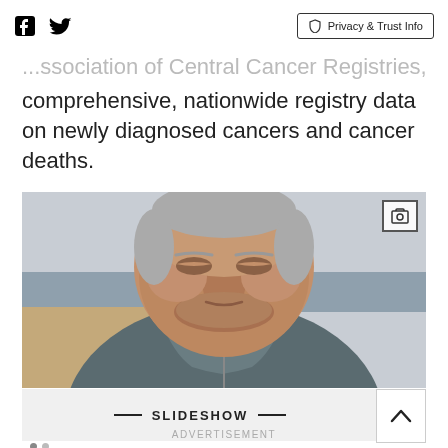Social icons (Facebook, Twitter) | Privacy & Trust Info
...ssociation of Central Cancer Registries, based on comprehensive, nationwide registry data on newly diagnosed cancers and cancer deaths.
[Figure (photo): Close-up portrait of a middle-aged man with grey hair and beard wearing a grey zip-up jacket, standing outdoors at a beach with ocean in the background. Overcast sky. Man's eyes are closed or downcast.]
SLIDESHOW
ADVERTISEMENT